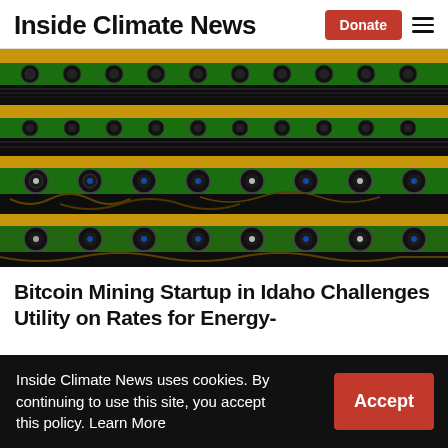Inside Climate News | Donate
[Figure (photo): Rows of Bitcoin mining hardware with yellow frames, green circuit boards, and black fans stacked in a data center]
Bitcoin Mining Startup in Idaho Challenges Utility on Rates for Energy-
Inside Climate News uses cookies. By continuing to use this site, you accept this policy. Learn More